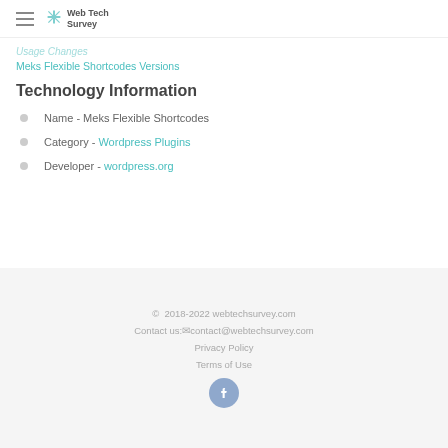Web Tech Survey
Usage Changes
Meks Flexible Shortcodes Versions
Technology Information
Name - Meks Flexible Shortcodes
Category - Wordpress Plugins
Developer - wordpress.org
© 2018-2022 webtechsurvey.com
Contact us: contact@webtechsurvey.com
Privacy Policy
Terms of Use